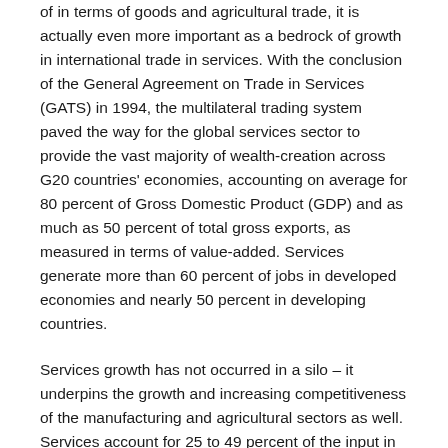of in terms of goods and agricultural trade, it is actually even more important as a bedrock of growth in international trade in services. With the conclusion of the General Agreement on Trade in Services (GATS) in 1994, the multilateral trading system paved the way for the global services sector to provide the vast majority of wealth-creation across G20 countries' economies, accounting on average for 80 percent of Gross Domestic Product (GDP) and as much as 50 percent of total gross exports, as measured in terms of value-added. Services generate more than 60 percent of jobs in developed economies and nearly 50 percent in developing countries.
Services growth has not occurred in a silo – it underpins the growth and increasing competitiveness of the manufacturing and agricultural sectors as well. Services account for 25 to 49 percent of the input in manufacturing (with this share increasing dramatically in advanced manufacturing) and as much as 60 percent of the jobs in the manufacturing sector on and off the